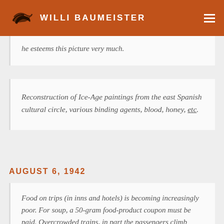WILLI BAUMEISTER
he esteems this picture very much.
Reconstruction of Ice-Age paintings from the east Spanish cultural circle, various binding agents, blood, honey, etc.
AUGUST 6, 1942
Food on trips (in inns and hotels) is becoming increasingly poor. For soup, a 50-gram food-product coupon must be paid. Overcrowded trains, in part the passengers climb through the windows ...